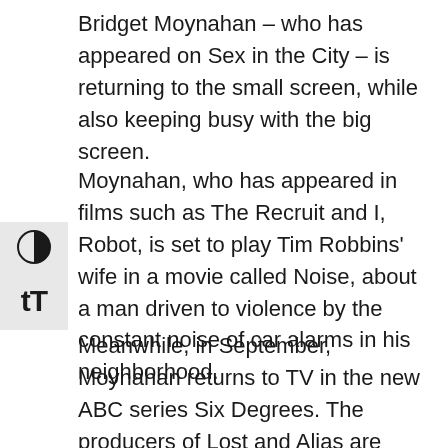Bridget Moynahan – who has appeared on Sex in the City – is returning to the small screen, while also keeping busy with the big screen.
Moynahan, who has appeared in films such as The Recruit and I, Robot, is set to play Tim Robbins' wife in a movie called Noise, about a man driven to violence by the constant noise of car alarms in his neighborhood.
Meanwhile, in September, Moynahan returns to TV in the new ABC series Six Degrees. The producers of Lost and Alias are hoping for another hit with this series about strangers whose lives are intertwined.